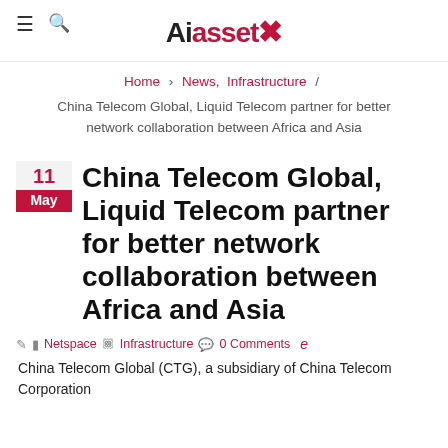AiassetK
Home > News, Infrastructure /
China Telecom Global, Liquid Telecom partner for better network collaboration between Africa and Asia
China Telecom Global, Liquid Telecom partner for better network collaboration between Africa and Asia
11 May | Netspace | Infrastructure | 0 Comments
China Telecom Global (CTG), a subsidiary of China Telecom Corporation